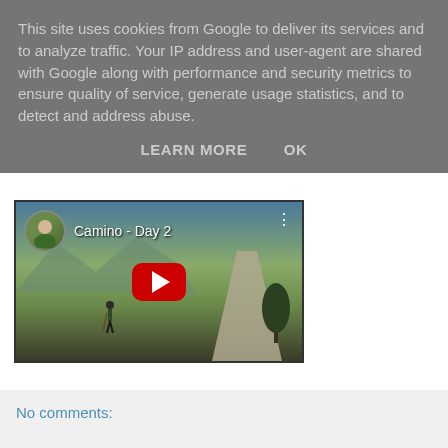This site uses cookies from Google to deliver its services and to analyze traffic. Your IP address and user-agent are shared with Google along with performance and security metrics to ensure quality of service, generate usage statistics, and to detect and address abuse.
LEARN MORE   OK
[Figure (screenshot): YouTube video thumbnail showing 'Camino - Day 2' with a person walking along a path through a field with mountains and a tree in the background. A red YouTube play button is centered on the image. A circular channel avatar is in the top-left corner.]
No comments: